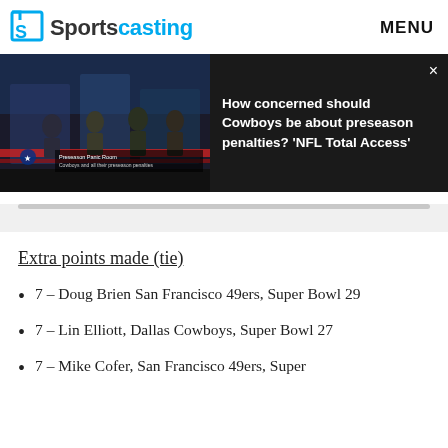Sportscasting   MENU
[Figure (screenshot): Sportscasting website screenshot showing a video player with NFL studio show footage on the left and video title on the right: 'How concerned should Cowboys be about preseason penalties? NFL Total Access'. A close button (x) is visible top right of the video panel.]
Extra points made (tie)
7 – Doug Brien San Francisco 49ers, Super Bowl 29
7 – Lin Elliott, Dallas Cowboys, Super Bowl 27
7 – Mike Cofer, San Francisco 49ers, Super